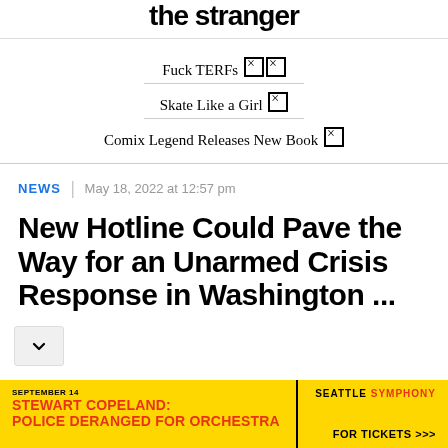the stranger
Fuck TERFs 🏳️‍⚧️
Skate Like a Girl 🛹
Comix Legend Releases New Book 🎨
NEWS | May 18, 2022 at 12:57 pm
New Hotline Could Pave the Way for an Unarmed Crisis Response in Washington ...
[Figure (other): Yellow advertisement banner for Seattle Symphony: Stewart Copeland: Police Deranged for Orchestra, September 14, For Tickets >>>]